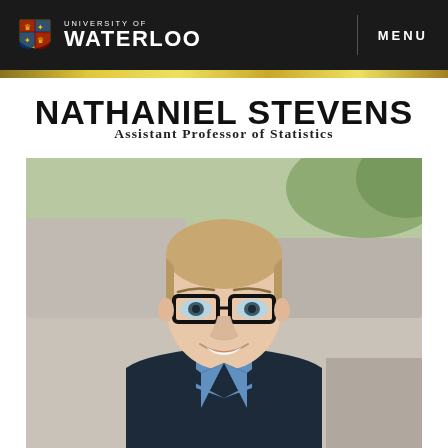UNIVERSITY OF WATERLOO | MENU
NATHANIEL STEVENS
Assistant Professor of Statistics
[Figure (photo): Professional headshot of Nathaniel Stevens, a young man with short blonde hair, wearing black-framed glasses, a dark navy blazer, and a blue checked shirt, smiling against an outdoor blurred background.]